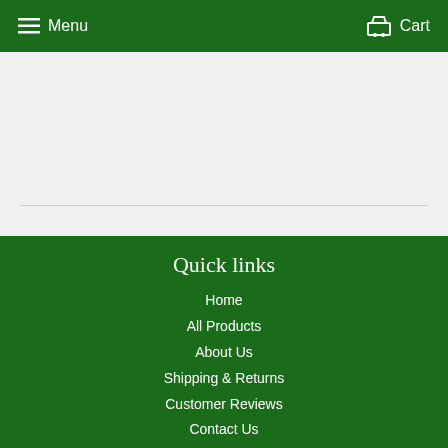Menu   Cart
[Figure (screenshot): Light gray content area with a horizontal divider line near the bottom]
Quick links
Home
All Products
About Us
Shipping & Returns
Customer Reviews
Contact Us